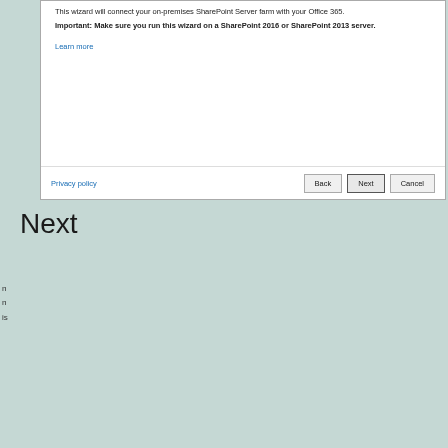[Figure (screenshot): Top portion of SharePoint Hybrid Configuration Wizard dialog showing text about connecting on-premises SharePoint Server farm with Office 365, an important note, a Learn more link, and footer with Privacy policy, Back, Next, Cancel buttons.]
This wizard will connect your on-premises SharePoint Server farm with your Office 365.
Important: Make sure you run this wizard on a SharePoint 2016 or SharePoint 2013 server.
Learn more
Privacy policy
Next
[Figure (screenshot): Office 365 SharePoint Hybrid Configuration Wizard dialog showing Credentials section with a cookie consent overlay: Privacy & Cookies notice with Close and accept button.]
Credentials
Privacy & Cookies: This site uses cookies. By continuing to use this website, you agree to their use.
To find out more, including how to control cookies, see here: Cookie Policy
Close and accept